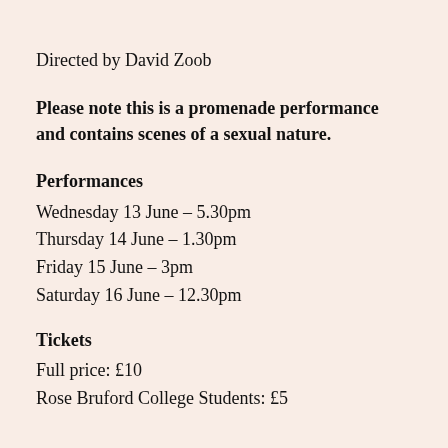Directed by David Zoob
Please note this is a promenade performance and contains scenes of a sexual nature.
Performances
Wednesday 13 June – 5.30pm
Thursday 14 June – 1.30pm
Friday 15 June – 3pm
Saturday 16 June – 12.30pm
Tickets
Full price: £10
Rose Bruford College Students: £5